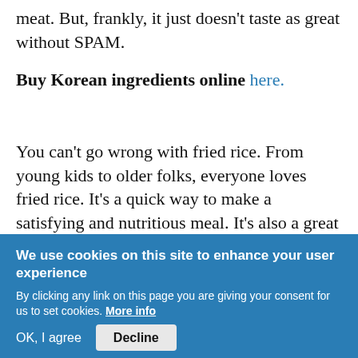meat. But, frankly, it just doesn't taste as great without SPAM.
Buy Korean ingredients online here.
You can't go wrong with fried rice. From young kids to older folks, everyone loves fried rice. It's a quick way to make a satisfying and nutritious meal. It's also a great way to use up cold leftover rice. Make
We use cookies on this site to enhance your user experience
By clicking any link on this page you are giving your consent for us to set cookies. More info
OK, I agree
Decline